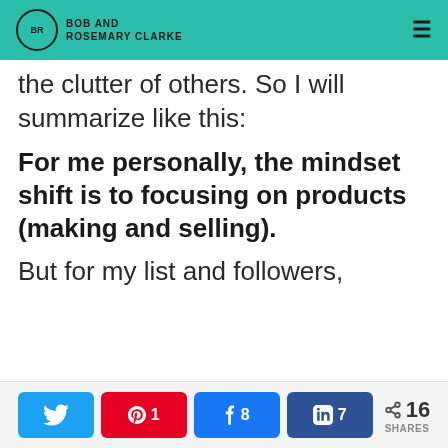BOB AND ROSEMARY CLARKE
the clutter of others. So I will summarize like this:
For me personally, the mindset shift is to focusing on products (making and selling).
But for my list and followers,